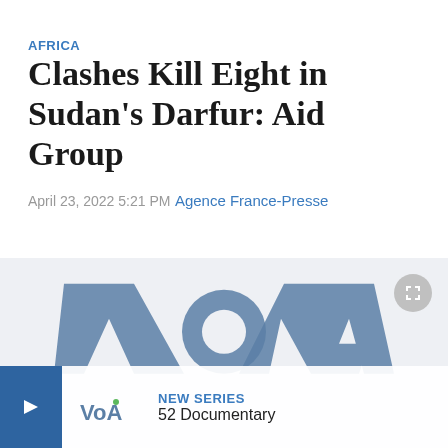AFRICA
Clashes Kill Eight in Sudan's Darfur: Aid Group
April 23, 2022 5:21 PM
Agence France-Presse
[Figure (logo): VOA News logo displayed large in background with a promotional bar at the bottom showing NEW SERIES and 52 Documentary]
NEW SERIES
52 Documentary